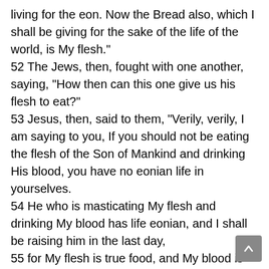living for the eon. Now the Bread also, which I shall be giving for the sake of the life of the world, is My flesh." 52 The Jews, then, fought with one another, saying, "How then can this one give us his flesh to eat?" 53 Jesus, then, said to them, "Verily, verily, I am saying to you, If you should not be eating the flesh of the Son of Mankind and drinking His blood, you have no eonian life in yourselves. 54 He who is masticating My flesh and drinking My blood has life eonian, and I shall be raising him in the last day, 55 for My flesh is true food, and My blood is true drink. 56 "He who is masticating My flesh and drinking My blood is remaining in Me, and I in him. 57 According as the living Father commissions Me, I, also, am living because of the Father. And he who is masticating Me, he also will be living because of Me.